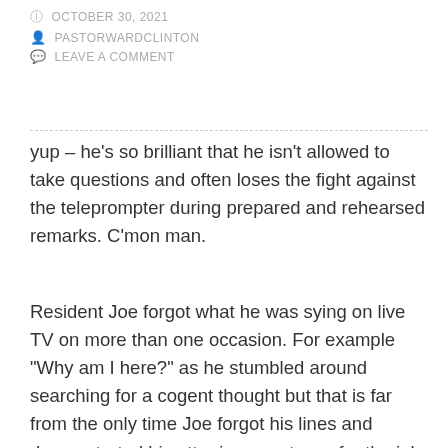OCTOBER 30, 2021
PASTORWARDCLINTON
LEAVE A COMMENT
yup – he's so brilliant that he isn't allowed to take questions and often loses the fight against the teleprompter during prepared and rehearsed remarks. C'mon man.
Resident Joe forgot what he was sying on live TV on more than one occasion. For example “Why am I here?” as he stumbled around searching for a cogent thought but that is far from the only time Joe forgot his lines and demonstrated his utter incompetency for the job he is occupying. If he actually has the intelligence and leadership capability needed, then China Joe needs to show